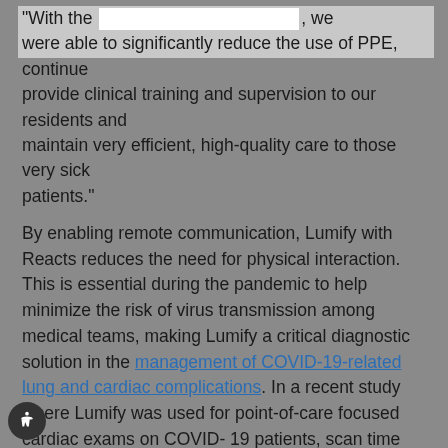"With the integrated Reacts tele-ultrasound capabilities, we were able to significantly reduce the use of PPE, continue provide clinical training and supervision to our residents and maintain very efficient, high-quality care to those very sick patients."
By enabling remote communication, Lumify with Reacts reduces the need for physical interaction. This is essential during the pandemic to help minimize the risk of virus transmission among medical teams, making Lumify a critical diagnostic solution in the management of COVID-19-related lung and cardiac complications. In a recent study where Lumify was used for point-of-care focused cardiac exams on COVID-19 patients, scan time was reduced by 79%, while decontamination time was reduced by 85%. [1]
In addition to helping clinicians diagnose and treat COVID-19 patients and reduce exposure, the solution has also helped doctors understand links between cardiac abnormalities and a poor COVID-19 prognosis [2]. Lumify with Reacts is also being